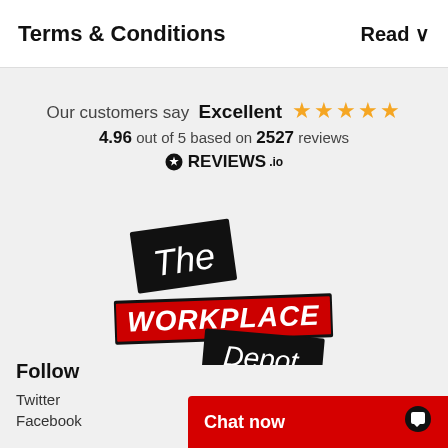Terms & Conditions
Read ▾
Our customers say Excellent ★★★★★ 4.96 out of 5 based on 2527 reviews ⊙REVIEWS.io
[Figure (logo): The Workplace Depot logo — black rectangular badges with white handwritten text 'The' and 'Depot', red banner with bold white text 'WORKPLACE']
Follow
Twitter
Facebook
Chat now